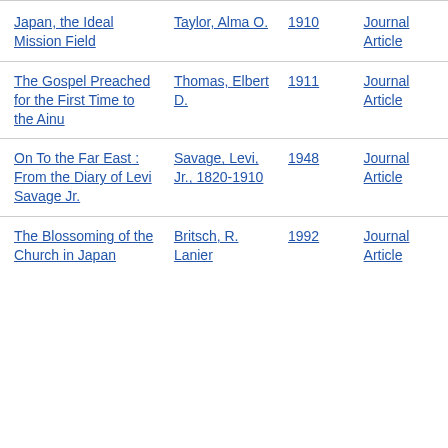| Title | Author | Year | Type |
| --- | --- | --- | --- |
| Japan, the Ideal Mission Field | Taylor, Alma O. | 1910 | Journal Article |
| The Gospel Preached for the First Time to the Ainu | Thomas, Elbert D. | 1911 | Journal Article |
| On To the Far East : From the Diary of Levi Savage Jr. | Savage, Levi, Jr., 1820-1910 | 1948 | Journal Article |
| The Blossoming of the Church in Japan | Britsch, R. Lanier | 1992 | Journal Article |